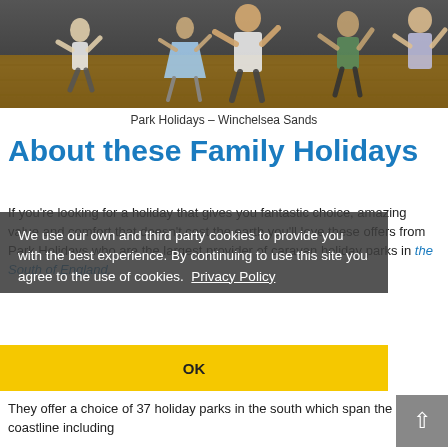[Figure (photo): Children dancing at a holiday park entertainment venue, indoor setting with wooden floors]
Park Holidays – Winchelsea Sands
About these Family Holidays
If you're looking for a holiday that gives you fantastic choice, amazing value and comfort that doesn't cost the earth you'll love these offers from Park Holidays who are the largest provider of caravan holiday parks in the South of England.
We use our own and third party cookies to provide you with the best experience. By continuing to use this site you agree to the use of cookies.  Privacy Policy
OK
They offer a choice of 37 holiday parks in the south which span the coastline including